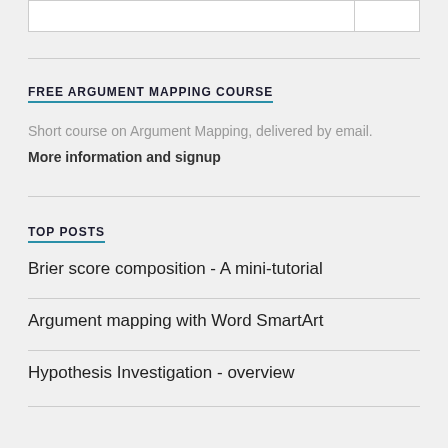FREE ARGUMENT MAPPING COURSE
Short course on Argument Mapping, delivered by email.
More information and signup
TOP POSTS
Brier score composition - A mini-tutorial
Argument mapping with Word SmartArt
Hypothesis Investigation - overview